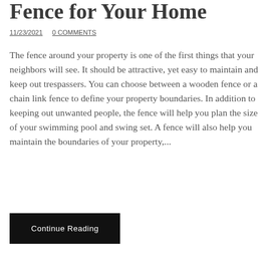Fence for Your Home
11/23/2021   0 COMMENTS
The fence around your property is one of the first things that your neighbors will see. It should be attractive, yet easy to maintain and keep out trespassers. You can choose between a wooden fence or a chain link fence to define your property boundaries. In addition to keeping out unwanted people, the fence will help you plan the size of your swimming pool and swing set. A fence will also help you maintain the boundaries of your property,...
Continue Reading